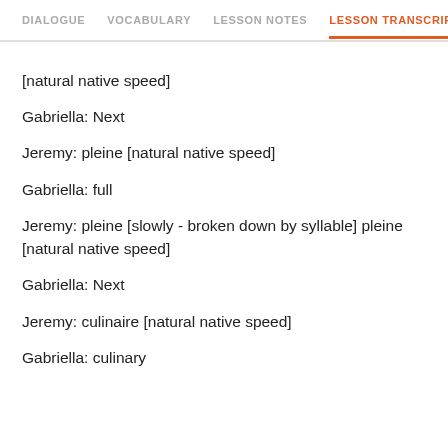DIALOGUE  VOCABULARY  LESSON NOTES  LESSON TRANSCRIPT  C
[natural native speed]
Gabriella: Next
Jeremy: pleine [natural native speed]
Gabriella: full
Jeremy: pleine [slowly - broken down by syllable] pleine [natural native speed]
Gabriella: Next
Jeremy: culinaire [natural native speed]
Gabriella: culinary